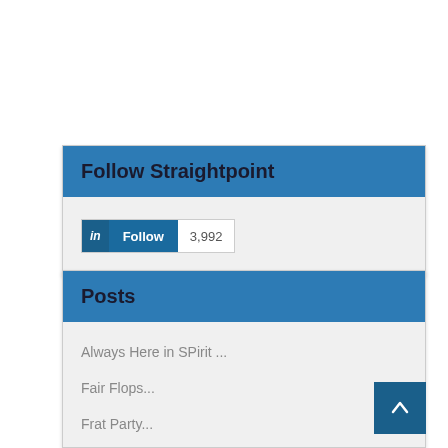Follow Straightpoint
[Figure (screenshot): LinkedIn Follow button showing 3,992 followers]
Posts
Always Here in SPirit ...
Fair Flops...
Frat Party...
Charity Disparity...